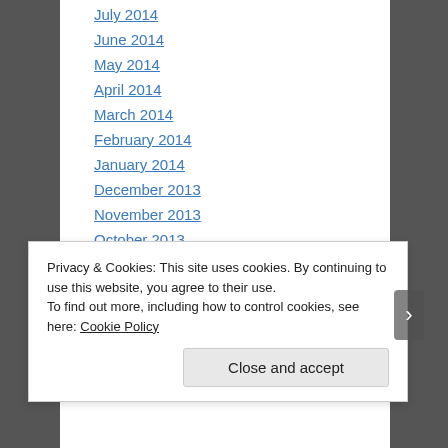July 2014
June 2014
May 2014
April 2014
March 2014
February 2014
January 2014
December 2013
November 2013
October 2013
September 2013
Privacy & Cookies: This site uses cookies. By continuing to use this website, you agree to their use.
To find out more, including how to control cookies, see here: Cookie Policy
Close and accept